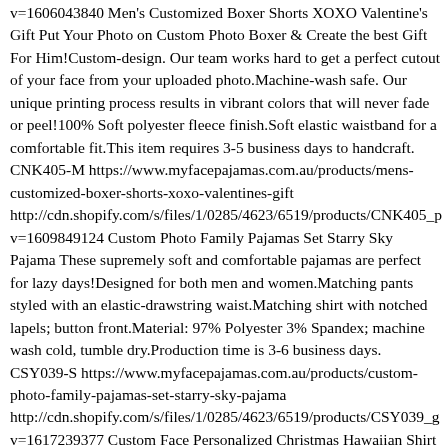v=1606043840 Men's Customized Boxer Shorts XOXO Valentine's Gift Put Your Photo on Custom Photo Boxer &amp; Create the best Gift For Him!Custom-design. Our team works hard to get a perfect cutout of your face from your uploaded photo.Machine-wash safe. Our unique printing process results in vibrant colors that will never fade or peel!100% Soft polyester fleece finish.Soft elastic waistband for a comfortable fit.This item requires 3-5 business days to handcraft. CNK405-M https://www.myfacepajamas.com.au/products/mens-customized-boxer-shorts-xoxo-valentines-gift http://cdn.shopify.com/s/files/1/0285/4623/6519/products/CNK405_p v=1609849124 Custom Photo Family Pajamas Set Starry Sky Pajama These supremely soft and comfortable pajamas are perfect for lazy days!Designed for both men and women.Matching pants styled with an elastic-drawstring waist.Matching shirt with notched lapels; button front.Material: 97% Polyester 3% Spandex; machine wash cold, tumble dry.Production time is 3-6 business days. CSY039-S https://www.myfacepajamas.com.au/products/custom-photo-family-pajamas-set-starry-sky-pajama http://cdn.shopify.com/s/files/1/0285/4623/6519/products/CSY039_g v=1617239377 Custom Face Personalized Christmas Hawaiian Shirt Stay Cool Santa Claus Holiday Gifts This Hawaiian shirt features print,button up closure,short sleeve.Produce Time:3-5 business days.It is very comfortable,trendy,and lightweight.Shirt is made of 4 way stretch fabric material..Perfect for the beach, pool